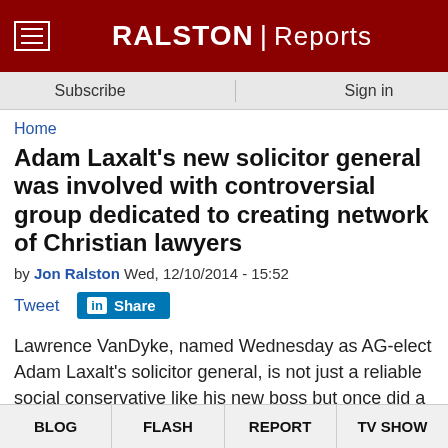RALSTON Reports
Subscribe  Sign in
Home
Adam Laxalt's new solicitor general was involved with controversial group dedicated to creating network of Christian lawyers
by Jon Ralston Wed, 12/10/2014 - 15:52
Tweet  Share
Lawrence VanDyke, named Wednesday as AG-elect Adam Laxalt's solicitor general, is not just a reliable social conservative like his new boss but once did a fellowship with a group that believes in "complete and total dependence upon God for everything."
BLOG  FLASH  REPORT  TV SHOW